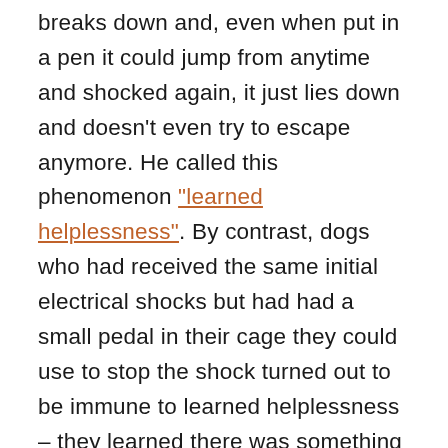breaks down and, even when put in a pen it could jump from anytime and shocked again, it just lies down and doesn't even try to escape anymore. He called this phenomenon "learned helplessness". By contrast, dogs who had received the same initial electrical shocks but had had a small pedal in their cage they could use to stop the shock turned out to be immune to learned helplessness – they learned there was something they could do to stop the suffering, so, when given the chance to escape, the immediately jumped out of the pen and away from the unpleasant shock.